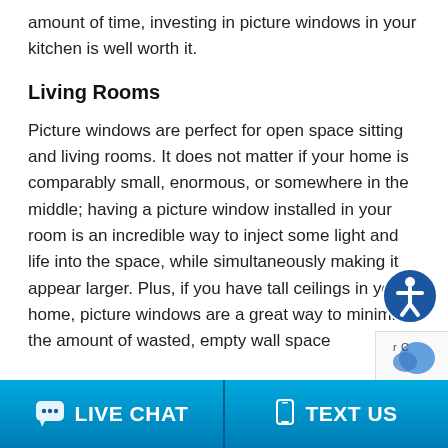amount of time, investing in picture windows in your kitchen is well worth it.
Living Rooms
Picture windows are perfect for open space sitting and living rooms. It does not matter if your home is comparably small, enormous, or somewhere in the middle; having a picture window installed in your room is an incredible way to inject some light and life into the space, while simultaneously making it appear larger. Plus, if you have tall ceilings in your home, picture windows are a great way to minimize the amount of wasted, empty wall space
LIVE CHAT   TEXT US